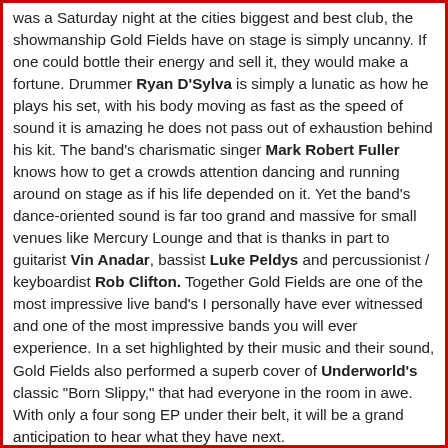was a Saturday night at the cities biggest and best club, the showmanship Gold Fields have on stage is simply uncanny. If one could bottle their energy and sell it, they would make a fortune. Drummer Ryan D'Sylva is simply a lunatic as how he plays his set, with his body moving as fast as the speed of sound it is amazing he does not pass out of exhaustion behind his kit. The band's charismatic singer Mark Robert Fuller knows how to get a crowds attention dancing and running around on stage as if his life depended on it. Yet the band's dance-oriented sound is far too grand and massive for small venues like Mercury Lounge and that is thanks in part to guitarist Vin Anadar, bassist Luke Peldys and percussionist / keyboardist Rob Clifton. Together Gold Fields are one of the most impressive live band's I personally have ever witnessed and one of the most impressive bands you will ever experience. In a set highlighted by their music and their sound, Gold Fields also performed a superb cover of Underworld's classic "Born Slippy," that had everyone in the room in awe. With only a four song EP under their belt, it will be a grand anticipation to hear what they have next.